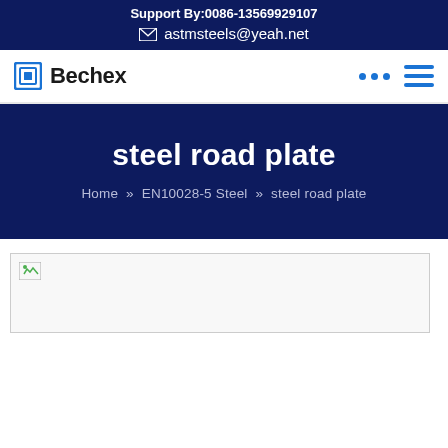Support By:0086-13569929107
astmsteels@yeah.net
Bechex
steel road plate
Home » EN10028-5 Steel » steel road plate
[Figure (photo): Broken image placeholder for steel road plate product image]